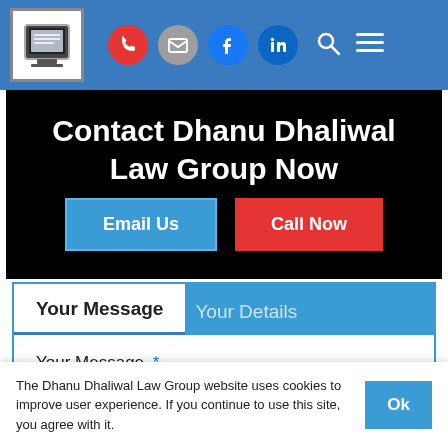[Figure (screenshot): Website navigation bar with logo, phone, email, Facebook, LinkedIn, search, and menu icons on blue background]
Contact Dhanu Dhaliwal Law Group Now
[Figure (infographic): Two call-to-action buttons: 'Email Us' (blue) and 'Call Now' (red) on black background]
Your Message  Your Details
Your Message *
The Dhanu Dhaliwal Law Group website uses cookies to improve user experience. If you continue to use this site, you agree with it.